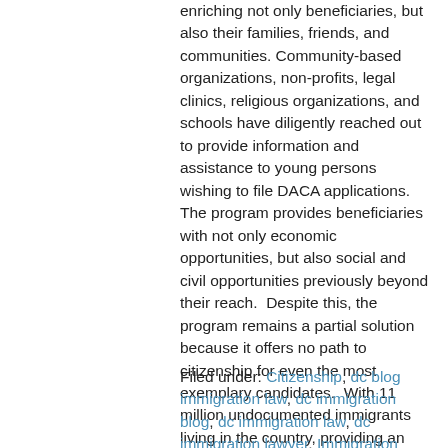enriching not only beneficiaries, but also their families, friends, and communities. Community-based organizations, non-profits, legal clinics, religious organizations, and schools have diligently reached out to provide information and assistance to young persons wishing to file DACA applications.  The program provides beneficiaries with not only economic opportunities, but also social and civil opportunities previously beyond their reach.  Despite this, the program remains a partial solution because it offers no path to citizenship for even the most exemplary candidates.  With 11 million undocumented immigrants living in the country, providing an efficient and equitable solution to immigration reform remains a crucial challenge.
Filed under: Citizenship, dc blog immigration law, dc immigration blog, dc immigration law, dc immigration lawyer, Immigration Issues, immigration